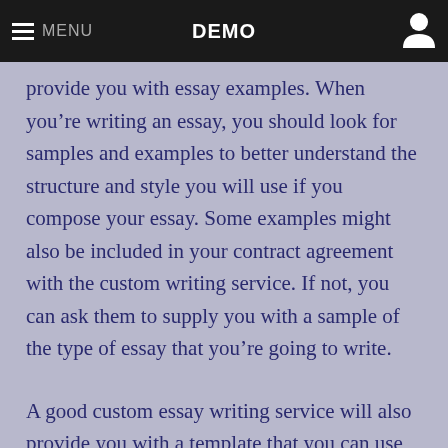MENU   DEMO
provide you with essay examples. When you’re writing an essay, you should look for samples and examples to better understand the structure and style you will use if you compose your essay. Some examples might also be included in your contract agreement with the custom writing service. If not, you can ask them to supply you with a sample of the type of essay that you’re going to write.
A good custom essay writing service will also provide you with a template that you can use in creating your own custom-made essay.